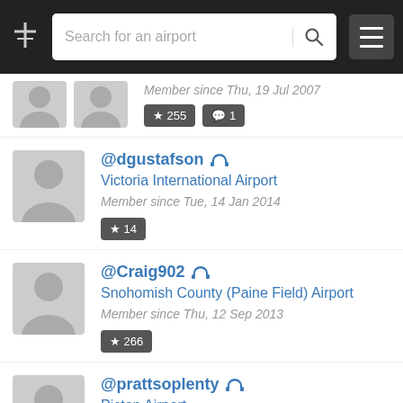Search for an airport
Member since Thu, 19 Jul 2007
★ 255   💬 1
@dgustafson — Victoria International Airport — Member since Tue, 14 Jan 2014 — ★ 14
@Craig902 — Snohomish County (Paine Field) Airport — Member since Thu, 12 Sep 2013 — ★ 266
@prattsoplenty — Picton Airport — Member since Thu, 07 May 2009 — ★ 427   💬 78